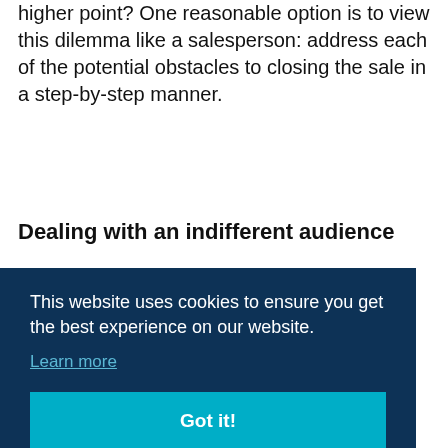higher point? One reasonable option is to view this dilemma like a salesperson: address each of the potential obstacles to closing the sale in a step-by-step manner.
Dealing with an indifferent audience
This challenge involves better understanding the portion of the U.S. population that is indifferent to the benefits the industry has to offer, most likely because they are already satisfied with their current health status. And even more problitterate
[Figure (screenshot): Cookie consent banner overlay with dark navy background, text 'This website uses cookies to ensure you get the best experience on our website.', a 'Learn more' link, and a cyan 'Got it!' button.]
benefits. In this regard, consider taking the